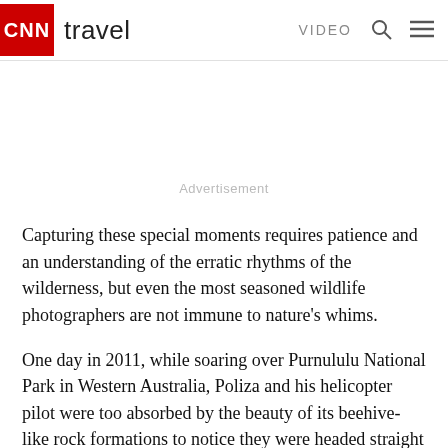CNN travel  VIDEO
Advertisement
Capturing these special moments requires patience and an understanding of the erratic rhythms of the wilderness, but even the most seasoned wildlife photographers are not immune to nature's whims.
One day in 2011, while soaring over Purnululu National Park in Western Australia, Poliza and his helicopter pilot were too absorbed by the beauty of its beehive-like rock formations to notice they were headed straight towards a storm.